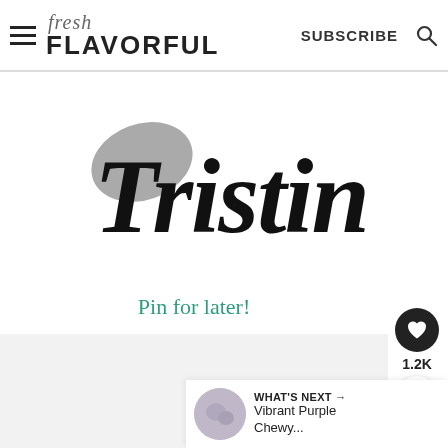fresh FLAVORFUL SUBSCRIBE
[Figure (illustration): Tristin script signature in large black cursive font with a gray swoosh element behind it]
Pin for later!
[Figure (other): Heart save button (1.2K) and share button on right side]
WHAT'S NEXT → Vibrant Purple Chewy...